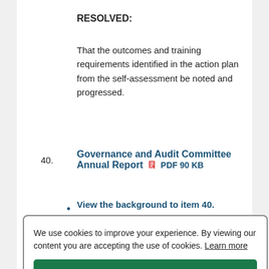RESOLVED:
That the outcomes and training requirements identified in the action plan from the self-assessment be noted and progressed.
40.   Governance and Audit Committee Annual Report  PDF 90 KB
• View the background to item 40.
We use cookies to improve your experience. By viewing our content you are accepting the use of cookies. Learn more
Accept Cookies
Decision: